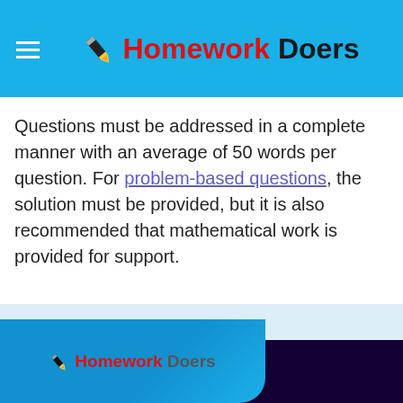Homework Doers
Questions must be addressed in a complete manner with an average of 50 words per question. For problem-based questions, the solution must be provided, but it is also recommended that mathematical work is provided for support.
[Figure (logo): Homework Doers logo in footer blue card]